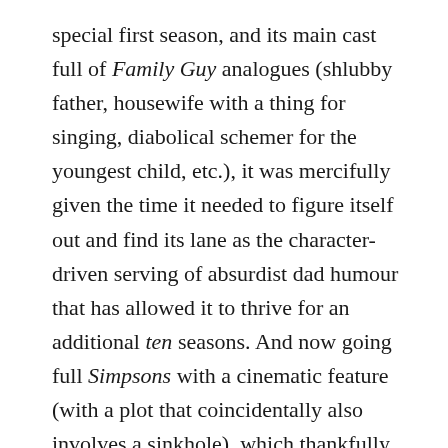special first season, and its main cast full of Family Guy analogues (shlubby father, housewife with a thing for singing, diabolical schemer for the youngest child, etc.), it was mercifully given the time it needed to figure itself out and find its lane as the character-driven serving of absurdist dad humour that has allowed it to thrive for an additional ten seasons. And now going full Simpsons with a cinematic feature (with a plot that coincidentally also involves a sinkhole), which thankfully carries over everything that makes the show so much fun.
Not only are the Belcher family all as